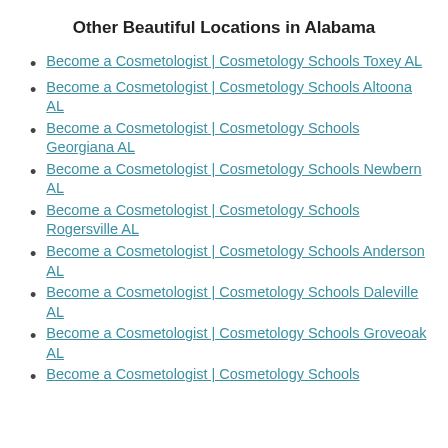Other Beautiful Locations in Alabama
Become a Cosmetologist | Cosmetology Schools Toxey AL
Become a Cosmetologist | Cosmetology Schools Altoona AL
Become a Cosmetologist | Cosmetology Schools Georgiana AL
Become a Cosmetologist | Cosmetology Schools Newbern AL
Become a Cosmetologist | Cosmetology Schools Rogersville AL
Become a Cosmetologist | Cosmetology Schools Anderson AL
Become a Cosmetologist | Cosmetology Schools Daleville AL
Become a Cosmetologist | Cosmetology Schools Groveoak AL
Become a Cosmetologist | Cosmetology Schools